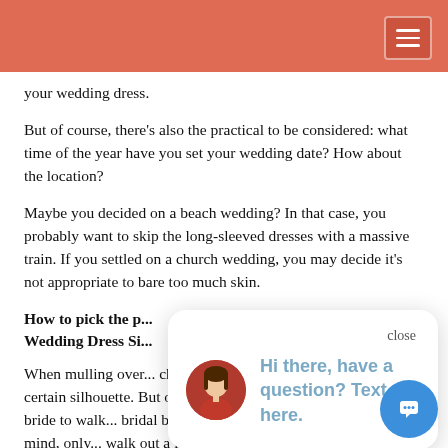your wedding dress.
But of course, there’s also the practical to be considered: what time of the year have you set your wedding date? How about the location?
Maybe you decided on a beach wedding? In that case, you probably want to skip the long-sleeved dresses with a massive train. If you settled on a church wedding, you may decide it’s not appropriate to bare too much skin.
How to pick the p... Wedding Dress Si...
When mulling over... chances are good you will feel drawn to a certain silhouette. But of course, you wouldn’t be the first future bride to walk... bridal boutique with a certain style of dress in mind, only... walk out a few hours later with a very different idea.
[Figure (screenshot): Chat popup with avatar photo of a woman, close button, and text: Hi there, have a question? Text us here. Also a blue circular chat bubble button in the bottom right.]